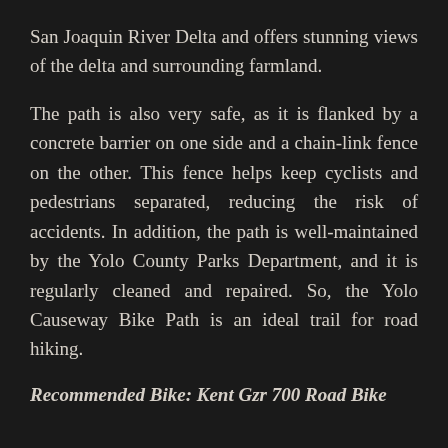San Joaquin River Delta and offers stunning views of the delta and surrounding farmland.
The path is also very safe, as it is flanked by a concrete barrier on one side and a chain-link fence on the other. This fence helps keep cyclists and pedestrians separated, reducing the risk of accidents. In addition, the path is well-maintained by the Yolo County Parks Department, and it is regularly cleaned and repaired. So, the Yolo Causeway Bike Path is an ideal trail for road hiking.
Recommended Bike: Kent Gzr 700 Road Bike